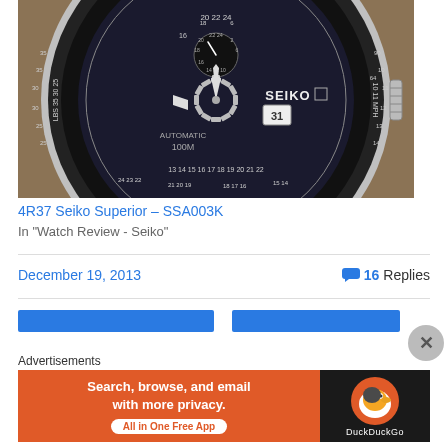[Figure (photo): Close-up photo of a Seiko automatic watch with black dial, showing 'SEIKO', 'AUTOMATIC 100M' text, date window, sub-dial, and rotating bezel with numbered markings]
4R37 Seiko Superior – SSA003K
In "Watch Review - Seiko"
December 19, 2013
16 Replies
[Figure (infographic): DuckDuckGo advertisement: Search, browse, and email with more privacy. All in One Free App]
Advertisements